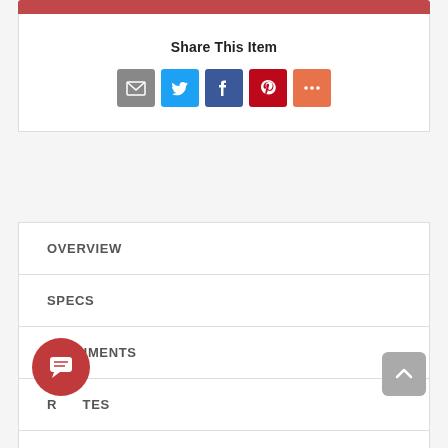Share This Item
[Figure (infographic): Social share icons: Email (grey), Twitter (blue), Facebook (dark blue), Pinterest (red), More (orange)]
OVERVIEW
SPECS
DOCUMENTS
REBATES
VIDEOS